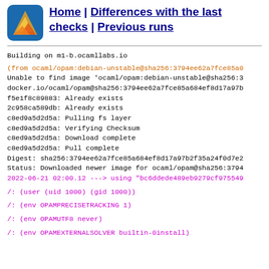Home | Differences with the last checks | Previous runs
Building on m1-b.ocamllabs.io
(from ocaml/opam:debian-unstable@sha256:3794ee62a7fce85a...)
Unable to find image 'ocaml/opam:debian-unstable@sha256:3...
docker.io/ocaml/opam@sha256:3794ee62a7fce85a684ef8d17a97b...
f5e1f8c89883: Already exists
2c958ca589db: Already exists
c8ed9a5d2d5a: Pulling fs layer
c8ed9a5d2d5a: Verifying Checksum
c8ed9a5d2d5a: Download complete
c8ed9a5d2d5a: Pull complete
Digest: sha256:3794ee62a7fce85a684ef8d17a97b2f35a24f0d7e2...
Status: Downloaded newer image for ocaml/opam@sha256:3794...
2022-06-21 02:00.12 ---> using "bc6ddede489eb9279cf975549..."
/: (user (uid 1000) (gid 1000))
/: (env OPAMPRECISETRACKING 1)
/: (env OPAMUTF8 never)
/: (env OPAMEXTERNALSOLVER builtin-0install)